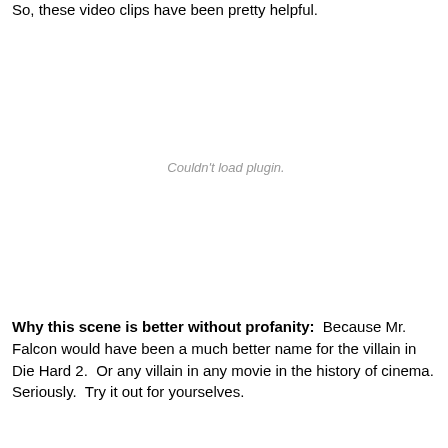So, these video clips have been pretty helpful.
[Figure (other): Embedded video plugin area showing 'Couldn't load plugin.' placeholder text]
Why this scene is better without profanity: Because Mr. Falcon would have been a much better name for the villain in Die Hard 2. Or any villain in any movie in the history of cinema. Seriously. Try it out for yourselves.